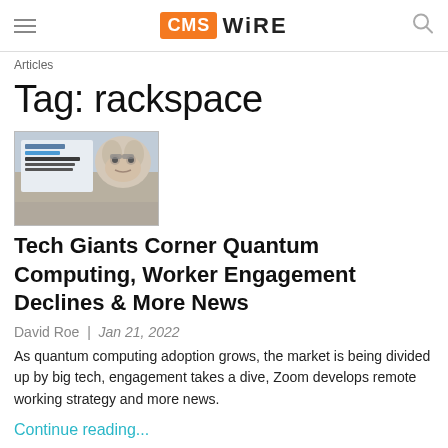CMS WiRE
Articles
Tag: rackspace
[Figure (photo): Thumbnail image showing a dog with glasses near a laptop with blue text overlay reading 'digital services NEWSBYTE']
Tech Giants Corner Quantum Computing, Worker Engagement Declines & More News
David Roe  |  Jan 21, 2022
As quantum computing adoption grows, the market is being divided up by big tech, engagement takes a dive, Zoom develops remote working strategy and more news.
Continue reading...